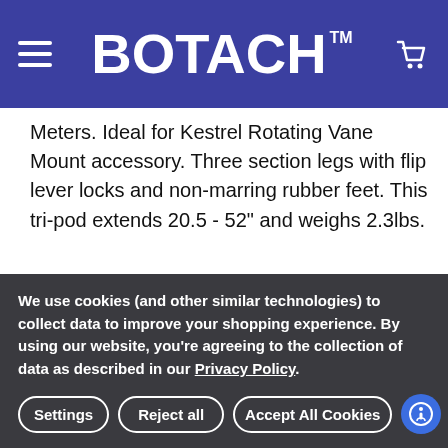BOTACH™
Meters. Ideal for Kestrel Rotating Vane Mount accessory. Three section legs with flip lever locks and non-marring rubber feet. This tri-pod extends 20.5 - 52" and weighs 2.3lbs.
VIEW ALL
Additional Information
We use cookies (and other similar technologies) to collect data to improve your shopping experience. By using our website, you're agreeing to the collection of data as described in our Privacy Policy.
Settings | Reject all | Accept All Cookies